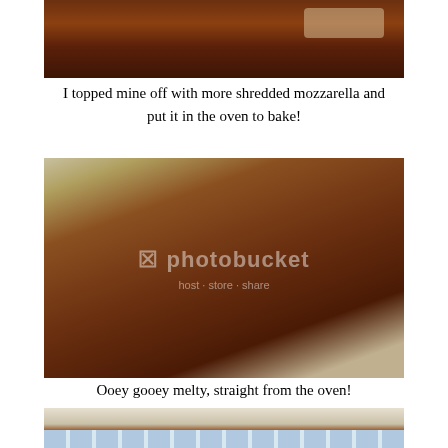[Figure (photo): Top portion of a baked lasagna dish with melted mozzarella cheese on top, partially cropped]
I topped mine off with more shredded mozzarella and put it in the oven to bake!
[Figure (photo): A glass baking dish containing lasagna topped with melted mozzarella cheese, freshly baked, with Photobucket watermark overlay]
Ooey gooey melty, straight from the oven!
[Figure (photo): A serving of lasagna on a blue and white striped plate, partially visible at bottom of page]